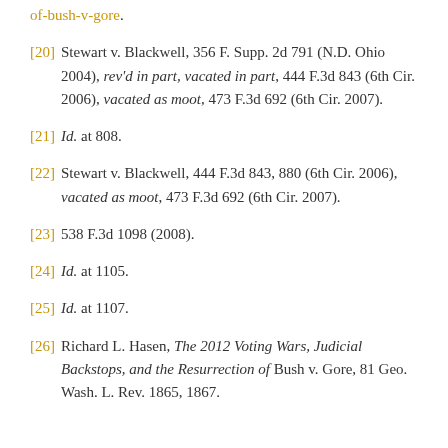of-bush-v-gore.
[20] Stewart v. Blackwell, 356 F. Supp. 2d 791 (N.D. Ohio 2004), rev'd in part, vacated in part, 444 F.3d 843 (6th Cir. 2006), vacated as moot, 473 F.3d 692 (6th Cir. 2007).
[21] Id. at 808.
[22] Stewart v. Blackwell, 444 F.3d 843, 880 (6th Cir. 2006), vacated as moot, 473 F.3d 692 (6th Cir. 2007).
[23] 538 F.3d 1098 (2008).
[24] Id. at 1105.
[25] Id. at 1107.
[26] Richard L. Hasen, The 2012 Voting Wars, Judicial Backstops, and the Resurrection of Bush v. Gore, 81 Geo. Wash. L. Rev. 1865, 1867.